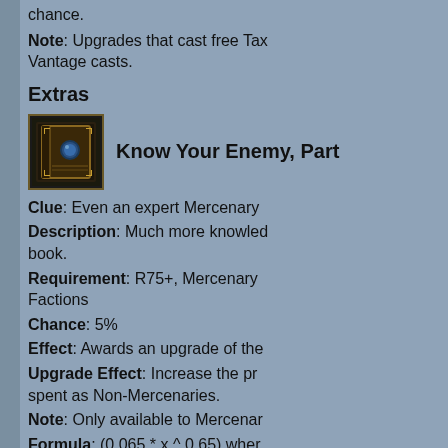chance.
Note: Upgrades that cast free Tax Vantage casts.
Extras
[Figure (illustration): A dark book/tome item icon with a blue gem on the cover, gold border]
Know Your Enemy, Part...
Clue: Even an expert Mercenary...
Description: Much more knowledge... book.
Requirement: R75+, Mercenary... Factions
Chance: 5%
Effect: Awards an upgrade of the...
Upgrade Effect: Increase the pro... spent as Non-Mercenaries.
Note: Only available to Mercenar...